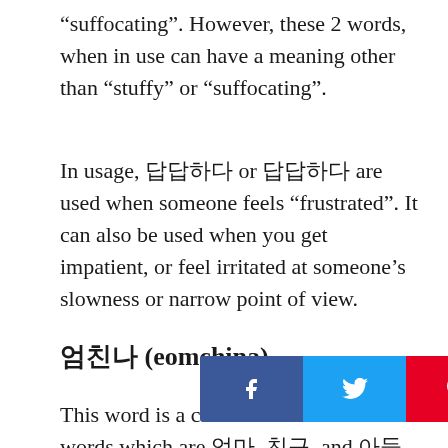“suffocating”. However, these 2 words, when in use can have a meaning other than “stuffy” or “suffocating”.
In usage, 답답하다 or 답답하다 are used when someone feels “frustrated”. It can also be used when you get impatient, or feel irritated at someone’s slowness or narrow point of view.
엄친나 (eomchina)
This word is a combination of 3 Korean words which are 엄마, 친구, and 아들. These words combined mean “son of one’s mother’s friend”. However, this isn’t exactly what 엄친나 means.
엄친나 is used to descri[...] particularly a man who is close to perfection or someone who comes from or has a